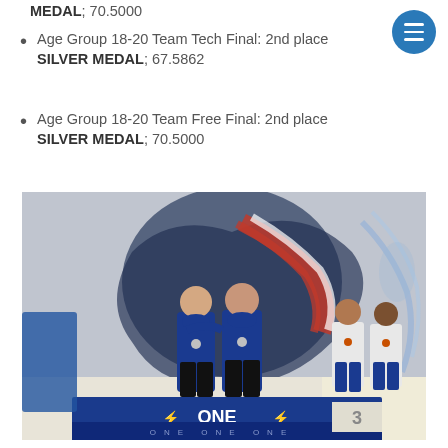MEDAL; 70.5000
Age Group 18-20 Team Tech Final: 2nd place SILVER MEDAL; 67.5862
Age Group 18-20 Team Free Final: 2nd place SILVER MEDAL; 70.5000
[Figure (photo): Athletes standing on a podium with medals. Two athletes in blue jackets stand in center (2nd place), two more athletes stand to the right. Background shows a large banner with a gymnast/swimmer silhouette and American flag stripes. Podium has 'ONE' branding text and lightning bolt graphics in blue.]